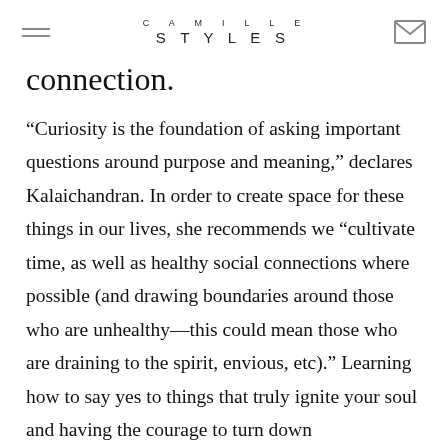CAMILLE STYLES
connection.
“Curiosity is the foundation of asking important questions around purpose and meaning,” declares Kalaichandran. In order to create space for these things in our lives, she recommends we “cultivate time, as well as healthy social connections where possible (and drawing boundaries around those who are unhealthy—this could mean those who are draining to the spirit, envious, etc).” Learning how to say yes to things that truly ignite your soul and having the courage to turn down